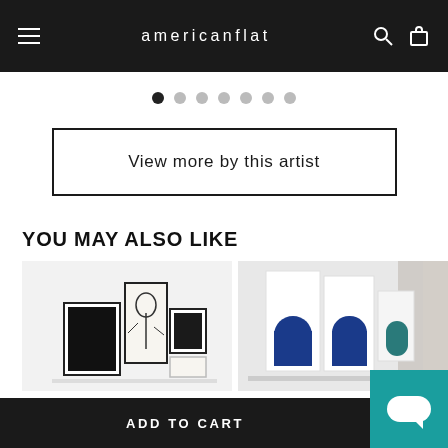[Figure (screenshot): Americanflat e-commerce website header with hamburger menu, logo, search and cart icons on black background]
[Figure (other): Carousel dot indicators - 7 dots, first one dark/active, rest light gray]
View more by this artist
YOU MAY ALSO LIKE
[Figure (photo): Gallery wall with multiple framed black and white botanical art prints]
[Figure (photo): Blue geometric framed art pieces on shelf]
ADD TO CART